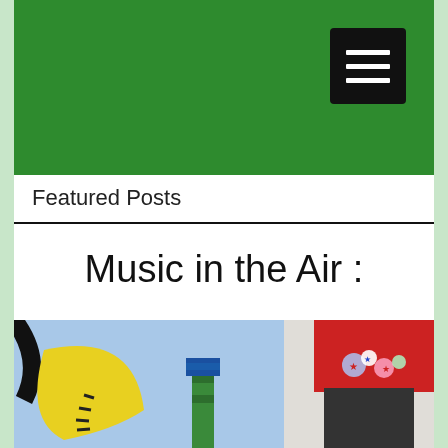Featured Posts
Music in the Air :
[Figure (photo): Photo showing colorful musical themed art: a cartoon yellow crescent moon with black markings, a blue LEGO guitar, and a red display with rock/music themed figurines and decorations]